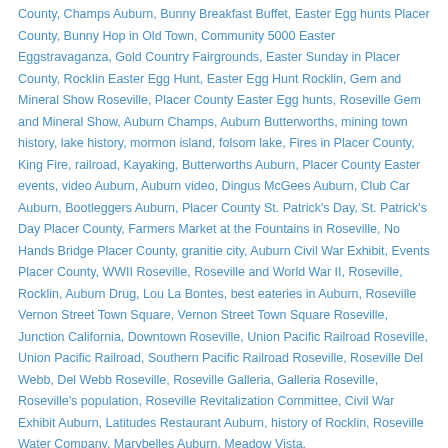County, Champs Auburn, Bunny Breakfast Buffet, Easter Egg hunts Placer County, Bunny Hop in Old Town, Community 5000 Easter Eggstravaganza, Gold Country Fairgrounds, Easter Sunday in Placer County, Rocklin Easter Egg Hunt, Easter Egg Hunt Rocklin, Gem and Mineral Show Roseville, Placer County Easter Egg hunts, Roseville Gem and Mineral Show, Auburn Champs, Auburn Butterworths, mining town history, lake history, mormon island, folsom lake, Fires in Placer County, King Fire, railroad, Kayaking, Butterworths Auburn, Placer County Easter events, video Auburn, Auburn video, Dingus McGees Auburn, Club Car Auburn, Bootleggers Auburn, Placer County St. Patrick's Day, St. Patrick's Day Placer County, Farmers Market at the Fountains in Roseville, No Hands Bridge Placer County, granitie city, Auburn Civil War Exhibit, Events Placer County, WWII Roseville, Roseville and World War II, Roseville, Rocklin, Auburn Drug, Lou La Bontes, best eateries in Auburn, Roseville Vernon Street Town Square, Vernon Street Town Square Roseville, Junction California, Downtown Roseville, Union Pacific Railroad Roseville, Union Pacific Railroad, Southern Pacific Railroad Roseville, Roseville Del Webb, Del Webb Roseville, Roseville Galleria, Galleria Roseville, Roseville's population, Roseville Revitalization Committee, Civil War Exhibit Auburn, Latitudes Restaurant Auburn, history of Rocklin, Roseville Water Company, Marybelles Auburn, Meadow Vista,